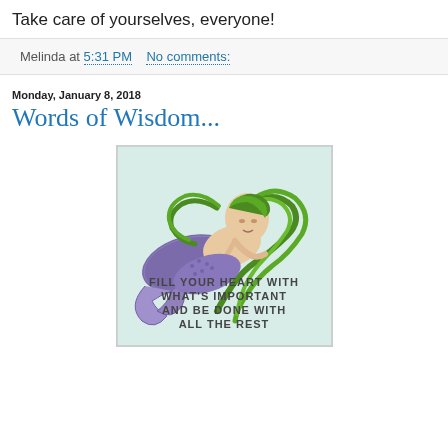Take care of yourselves, everyone!
Melinda at 5:31 PM   No comments:
Monday, January 8, 2018
Words of Wisdom...
[Figure (illustration): Illustration of a mermaid with green flowing hair and a purple/blue scaled tail, lying down. Text on the image reads: FILL YOUR HEART WITH WHAT'S IMPORTANT AND BE DONE WITH ALL THE REST]